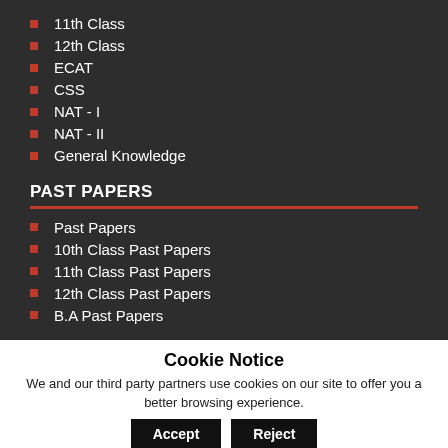11th Class
12th Class
ECAT
CSS
NAT - I
NAT - II
General Knowledge
PAST PAPERS
Past Papers
10th Class Past Papers
11th Class Past Papers
12th Class Past Papers
B.A Past Papers
Cookie Notice
We and our third party partners use cookies on our site to offer you a better browsing experience.